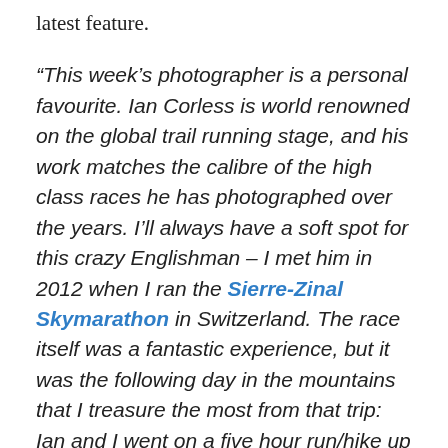latest feature.
“This week’s photographer is a personal favourite. Ian Corless is world renowned on the global trail running stage, and his work matches the calibre of the high class races he has photographed over the years. I’ll always have a soft spot for this crazy Englishman – I met him in 2012 when I ran the Sierre-Zinal Skymarathon in Switzerland. The race itself was a fantastic experience, but it was the following day in the mountains that I treasure the most from that trip: Ian and I went on a five hour run/hike up into the mountains above the tiny town of Zinal, and gazed upon the Glacier de Zinal, and an amphitheatre of snow-capped mountains – Zinalrothorn 4221m, Wellenkuppe 3903m, Ober Gabelhorn 4063m, Matterhorn 4476m, Pointe de Zinal 3789m and Dent